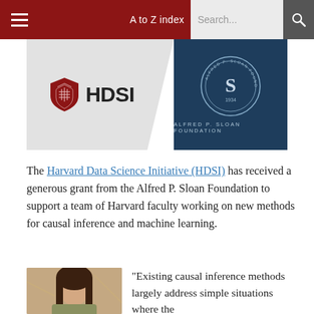≡   A to Z index   Search...  🔍
[Figure (logo): HDSI (Harvard Data Science Initiative) logo on gray background alongside Alfred P. Sloan Foundation seal on dark blue background]
The Harvard Data Science Initiative (HDSI) has received a generous grant from the Alfred P. Sloan Foundation to support a team of Harvard faculty working on new methods for causal inference and machine learning.
[Figure (photo): Portrait photo of a woman with long dark brown hair, smiling]
“Existing causal inference methods largely address simple situations where the